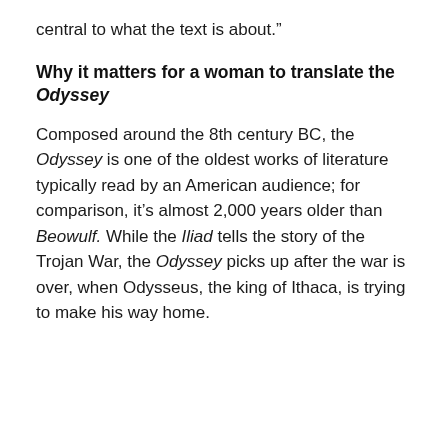central to what the text is about.”
Why it matters for a woman to translate the Odyssey
Composed around the 8th century BC, the Odyssey is one of the oldest works of literature typically read by an American audience; for comparison, it’s almost 2,000 years older than Beowulf. While the Iliad tells the story of the Trojan War, the Odyssey picks up after the war is over, when Odysseus, the king of Ithaca, is trying to make his way home.